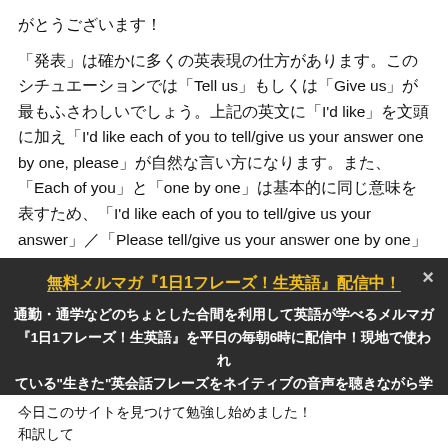がとうございます！

「発表」は確かに多くの英表現の仕方があります。このシチュエーションでは「Tell us」もしくは「Give us」が最もふさわしいでしょう。上記の英文に「I'd like」を文頭に加え「I'd like each of you to tell/give us your answer one by one, please」が自然な言い方になります。また、「Each of you」と「one by one」は基本的に同じ意味を表すため、「I'd like each of you to tell/give us your answer」／「Please tell/give us your answer one by one」でもオッケーです。
[Figure (other): Popup overlay on dark background with title '無料メルマガ『1日1フレーズ！生英語』配信中！' in yellow, body text in white, and an orange call-to-action button '詳細＆申込みはこちら', with an X close button.]
今日このサイトを見つけて勉強し始めました！
和訳して there are a lot of the words are getting more technical especially like in the sciences. この文にareが二回出ていますが、な